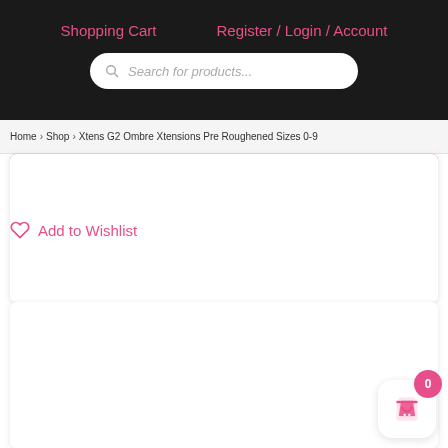Shopping Cart   Register / Login / Account
Search for products...
Home > Shop > Xtens G2 Ombre Xtensions Pre Roughened Sizes 0-9
Add to Cart
Add to Wishlist
[Figure (screenshot): White product image card area, mostly blank/white content area below the wishlist button]